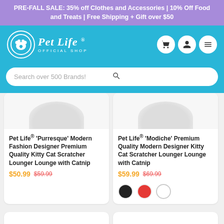PRE-FALL SALE: 35% off Clothes and Accessories | 10% Off Food and Treats | Free Shipping + Gift over $50
[Figure (logo): Pet Life Official Shop logo with paw icon in circle]
Search over 500 Brands!
Pet Life® 'Purresque' Modern Fashion Designer Premium Quality Kitty Cat Scratcher Lounger Lounge with Catnip
$50.99 $59.99
Pet Life® 'Modiche' Premium Quality Modern Designer Kitty Cat Scratcher Lounger Lounge with Catnip
$59.99 $69.99
SOLD OUT
SALE